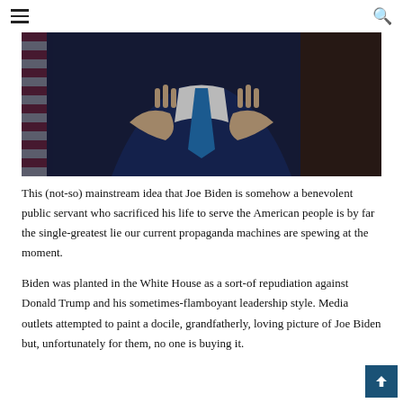☰ [hamburger menu] | [search icon]
[Figure (photo): A person in a dark navy suit with a blue tie, hands raised with fingers pointed upward in a gesture, in front of an American flag. The background is dark. The photo is cropped at the torso level.]
This (not-so) mainstream idea that Joe Biden is somehow a benevolent public servant who sacrificed his life to serve the American people is by far the single-greatest lie our current propaganda machines are spewing at the moment.
Biden was planted in the White House as a sort-of repudiation against Donald Trump and his sometimes-flamboyant leadership style. Media outlets attempted to paint a docile, grandfatherly, loving picture of Joe Biden but, unfortunately for them, no one is buying it.